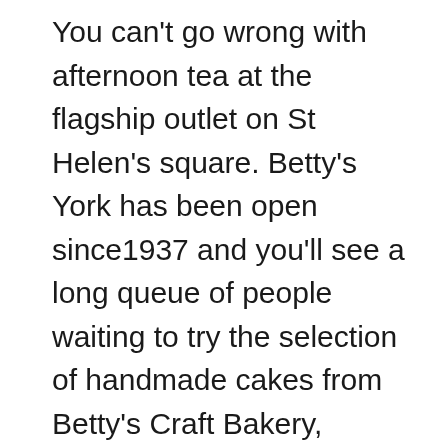You can't go wrong with afternoon tea at the flagship outlet on St Helen's square. Betty's York has been open since1937 and you'll see a long queue of people waiting to try the selection of handmade cakes from Betty's Craft Bakery, accompanied by the café pianist. Luckily they take reservations for the Art-Deco Belmont Room where you are magically transported to an age of traditional elegance and sophistication with wooden panelled walls, huge windows and beautiful white tablecloths. Your celebration tea starts with a glass of champagne and your choice of teas to accompany a delightful array of sandwiches followed by two mini scones with jam and cream. The silver cake stand is crammed with the finest cakes and choosing a favourite among